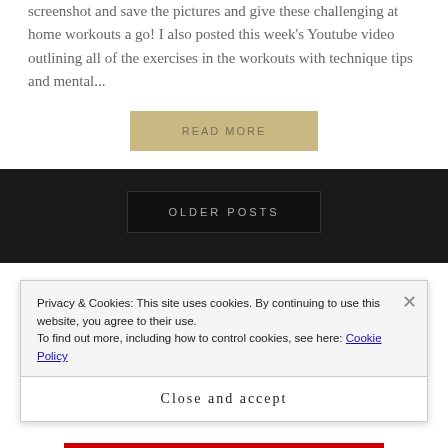screenshot and save the pictures and give these challenging at home workouts a go! I also posted this week's Youtube video outlining all of the exercises in the workouts with technique tips and mental...
READ MORE
OLDER POSTS
Privacy & Cookies: This site uses cookies. By continuing to use this website, you agree to their use.
To find out more, including how to control cookies, see here: Cookie Policy
Close and accept